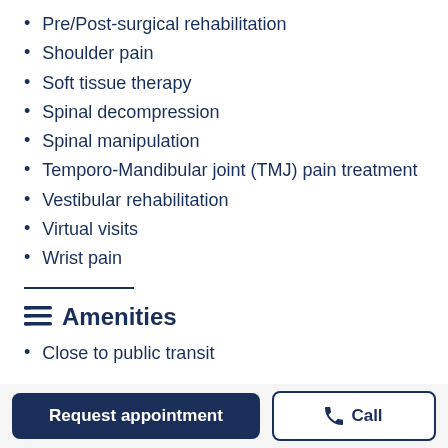Pre/Post-surgical rehabilitation
Shoulder pain
Soft tissue therapy
Spinal decompression
Spinal manipulation
Temporo-Mandibular joint (TMJ) pain treatment
Vestibular rehabilitation
Virtual visits
Wrist pain
Amenities
Close to public transit